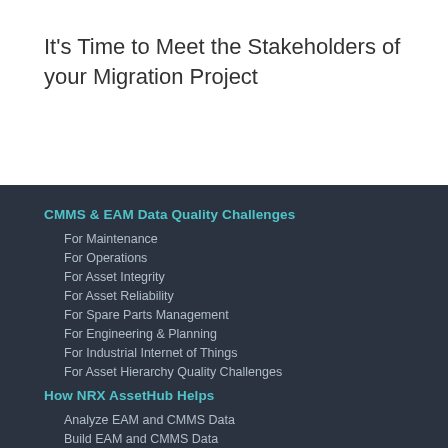It's Time to Meet the Stakeholders of your Migration Project
CMMS & EAM Data Quality Challenges
For Maintenance
For Operations
For Asset Integrity
For Asset Reliability
For Spare Parts Management
For Engineering & Planning
For Industrial Internet of Things
For Asset Hierarchy Quality Challenges
How NRX AssetHub Helps
Analyze EAM and CMMS Data
Build EAM and CMMS Data